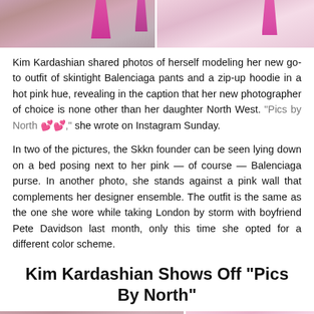[Figure (photo): Two photos side by side showing pink Balenciaga outfit details, heels visible at top]
Kim Kardashian shared photos of herself modeling her new go-to outfit of skintight Balenciaga pants and a zip-up hoodie in a hot pink hue, revealing in the caption that her new photographer of choice is none other than her daughter North West. “Pics by North 💕💕,” she wrote on Instagram Sunday.
In two of the pictures, the Skkn founder can be seen lying down on a bed posing next to her pink — of course — Balenciaga purse. In another photo, she stands against a pink wall that complements her designer ensemble. The outfit is the same as the one she wore while taking London by storm with boyfriend Pete Davidson last month, only this time she opted for a different color scheme.
Kim Kardashian Shows Off “Pics By North”
[Figure (photo): Two photos side by side showing Kim Kardashian in pink Balenciaga outfit, lying on bed and standing against pink wall]